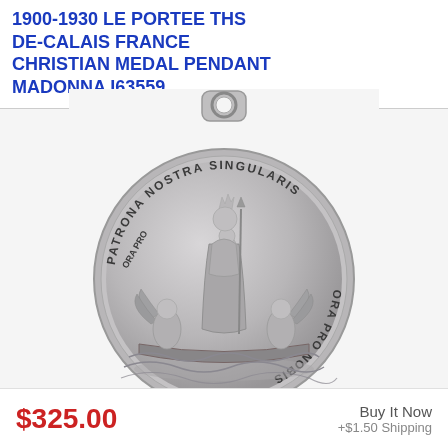1900-1930 LE PORTEE THS DE-CALAIS FRANCE CHRISTIAN MEDAL PENDANT MADONNA I63559
[Figure (photo): Silver-colored Christian medal pendant showing Madonna and child on a boat with two angels, surrounded by text 'PATRONA NOSTRA SINGULARIS ORA PRO NOBIS'. Medal has a bail/loop at top for wearing as pendant.]
$325.00
Buy It Now
+$1.50 Shipping